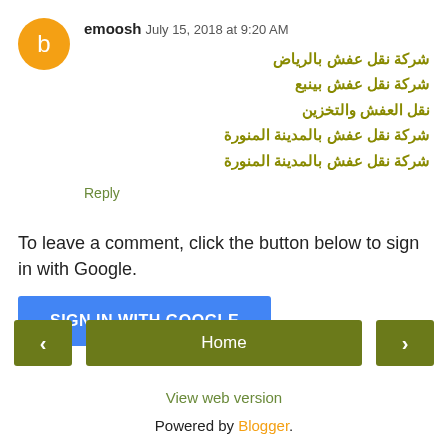emoosh July 15, 2018 at 9:20 AM
شركة نقل عفش بالرياض
شركة نقل عفش بينبع
نقل العفش والتخزين
شركة نقل عفش بالمدينة المنورة
شركة نقل عفش بالمدينة المنورة
Reply
To leave a comment, click the button below to sign in with Google.
[Figure (other): SIGN IN WITH GOOGLE button (blue)]
[Figure (other): Navigation bar with left arrow, Home button, right arrow]
View web version
Powered by Blogger.